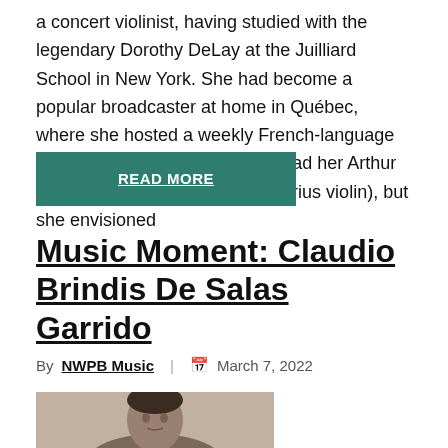a concert violinist, having studied with the legendary Dorothy DeLay at the Juilliard School in New York. She had become a popular broadcaster at home in Québec, where she hosted a weekly French-language program on CBC. She already had her Arthur (as she calls her prized Stradivarius violin), but she envisioned
READ MORE
Music Moment: Claudio Brindis De Salas Garrido
By NWPB Music | March 7, 2022
[Figure (photo): Sepia-toned historical portrait photograph of Claudio Brindis De Salas Garrido, a man with dark hair and formal attire, looking slightly to the side.]